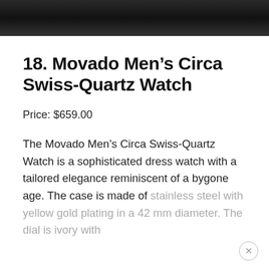[Figure (photo): Top portion of a watch product photo, dark background visible at top of page]
18. Movado Men’s Circa Swiss-Quartz Watch
Price: $659.00
The Movado Men’s Circa Swiss-Quartz Watch is a sophisticated dress watch with a tailored elegance reminiscent of a bygone age. The case is made of stainless steel with yellow gold plating in a 42 mm diameter. The dial is ivory with